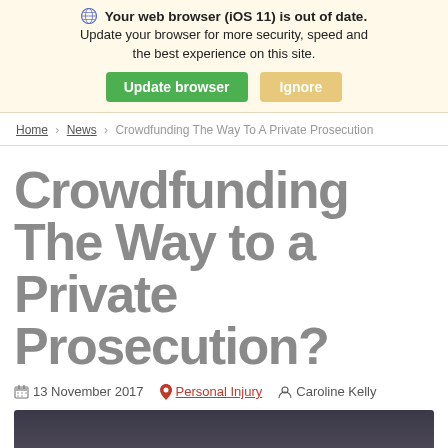[Figure (screenshot): Browser update notification banner with globe icon, bold warning text 'Your web browser (iOS 11) is out of date. Update your browser for more security, speed and the best experience on this site.' with green 'Update browser' button and tan 'Ignore' button]
Home > News > Crowdfunding The Way To A Private Prosecution
Crowdfunding The Way to a Private Prosecution?
13 November 2017   Personal Injury   Caroline Kelly